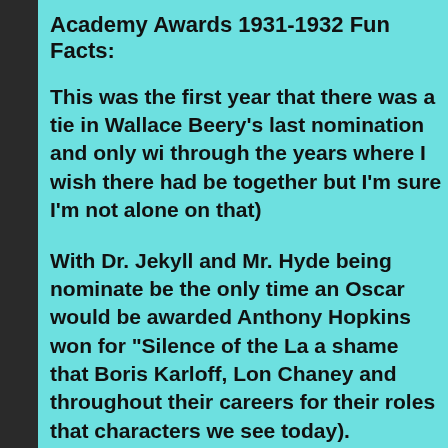Academy Awards 1931-1932 Fun Facts:
This was the first year that there was a tie in Wallace Beery's last nomination and only wi through the years where I wish there had be together but I'm sure I'm not alone on that)
With Dr. Jekyll and Mr. Hyde being nominate be the only time an Oscar would be awarded Anthony Hopkins won for "Silence of the La a shame that Boris Karloff, Lon Chaney and throughout their careers for their roles that characters we see today).
After Wallace Beery won an Oscar for his ro nominated for Best Picture, it would be ano